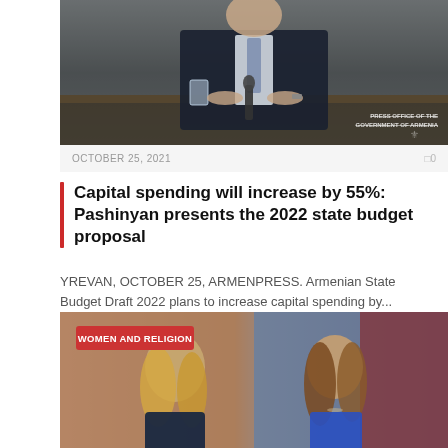[Figure (photo): A man in a dark suit sitting at a desk with a microphone and water glass, with 'PRESS OFFICE OF THE GOVERNMENT OF ARMENIA' watermark in bottom right]
OCTOBER 25, 2021  0
Capital spending will increase by 55%: Pashinyan presents the 2022 state budget proposal
YREVAN, OCTOBER 25, ARMENPRESS. Armenian State Budget Draft 2022 plans to increase capital spending by...
[Figure (photo): Two young people (a young man with long blond hair and a young woman with brown hair in a blue dress) in front of a decorative red background. Tag reads 'WOMEN AND RELIGION']